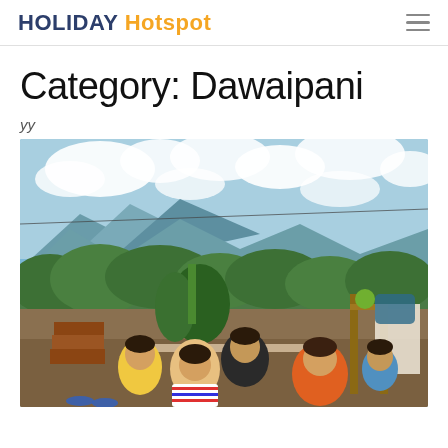HOLIDAY Hotspot
Category: Dawaipani
yy
[Figure (photo): Group of people sitting around a table outdoors on a hillside with mountain and green valley views, blue sky with clouds. Lush vegetation in background. People appear to be having a meal together. Bricks stacked on left, wooden structure on right.]